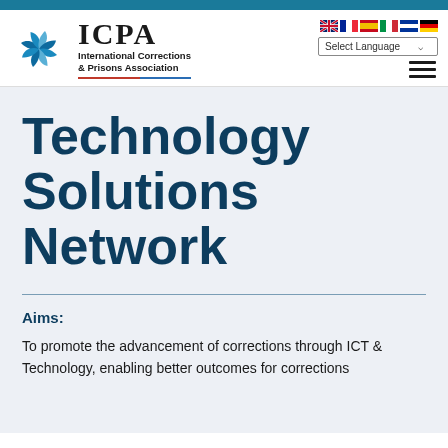[Figure (logo): ICPA logo with pinwheel icon and text 'ICPA International Corrections & Prisons Association']
Technology Solutions Network
Aims:
To promote the advancement of corrections through ICT & Technology, enabling better outcomes for corrections...